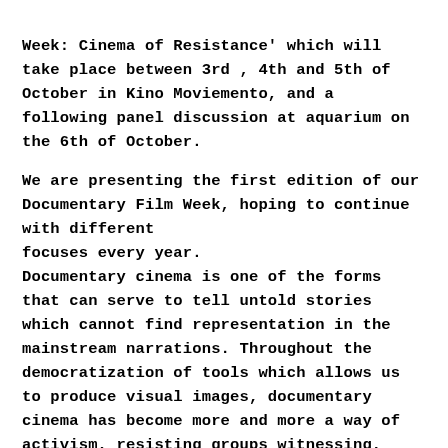Week: Cinema of Resistance' which will take place between 3rd , 4th and 5th of October in Kino Moviemento, and a following panel discussion at aquarium on the 6th of October.

We are presenting the first edition of our Documentary Film Week, hoping to continue with different
focuses every year.
Documentary cinema is one of the forms that can serve to tell untold stories which cannot find representation in the mainstream narrations. Throughout the democratization of tools which allows us to produce visual images, documentary cinema has become more and more a way of activism, resisting groups witnessing, archiving and transferring their